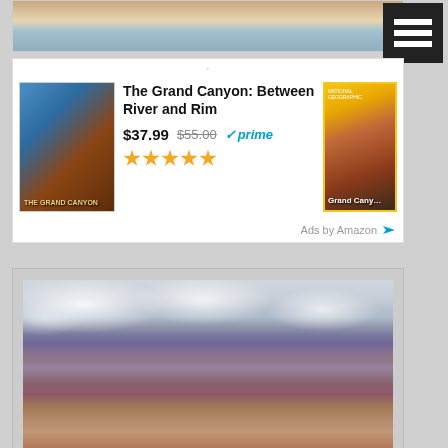[Figure (photo): Top partial photo of Grand Canyon with snow]
[Figure (screenshot): Black hamburger menu icon with three horizontal white lines]
[Figure (screenshot): Amazon advertisement for 'The Grand Canyon: Between River and Rim' book showing book cover, price $37.99 (originally $55.00), Prime eligibility, and 5 star rating, with a second book 'Grand Canyon' on the right]
Ads by Amazon
[Figure (photo): Aerial landscape photo of the Grand Canyon showing layered red and purple rock formations with snow on the rim and cloudy sky above]